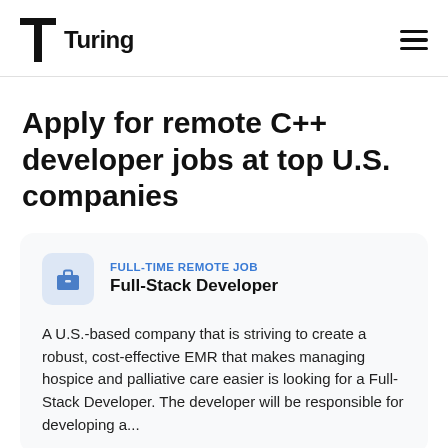Turing
Apply for remote C++ developer jobs at top U.S. companies
FULL-TIME REMOTE JOB
Full-Stack Developer

A U.S.-based company that is striving to create a robust, cost-effective EMR that makes managing hospice and palliative care easier is looking for a Full-Stack Developer. The developer will be responsible for developing a...